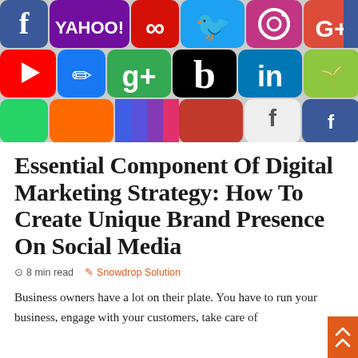[Figure (photo): Colorful collage of social media app icons including Facebook, Yahoo, Twitter, Instagram, Google+, YouTube, Google Drive, LinkedIn, Beats, and others arranged in a mosaic pattern]
Essential Component Of Digital Marketing Strategy: How To Create Unique Brand Presence On Social Media
⊙ 8 min read   ✎ Snowdrop Solution
Business owners have a lot on their plate. You have to run your business, engage with your customers, take care of